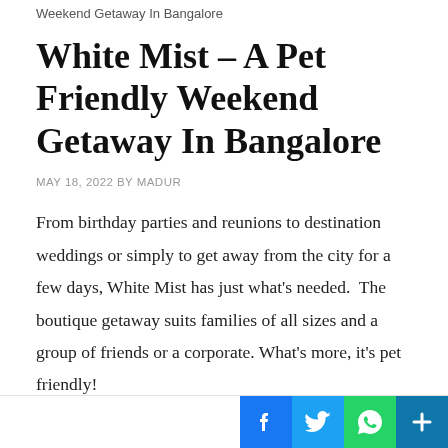Weekend Getaway In Bangalore
White Mist – A Pet Friendly Weekend Getaway In Bangalore
MAY 18, 2022 BY MADUR
From birthday parties and reunions to destination weddings or simply to get away from the city for a few days, White Mist has just what's needed.  The boutique getaway suits families of all sizes and a group of friends or a corporate. What's more, it's pet friendly!